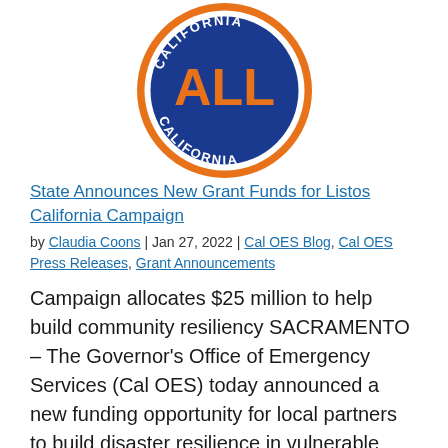[Figure (logo): California ALL California circular logo with blue background, orange ring border, 'CALIFORNIA' in white text at top, 'ALL' in large orange letters in center, 'CALIFORNIA' in white text along bottom arc]
State Announces New Grant Funds for Listos California Campaign
by Claudia Coons | Jan 27, 2022 | Cal OES Blog, Cal OES Press Releases, Grant Announcements
Campaign allocates $25 million to help build community resiliency SACRAMENTO – The Governor's Office of Emergency Services (Cal OES) today announced a new funding opportunity for local partners to build disaster resilience in vulnerable communities. Under